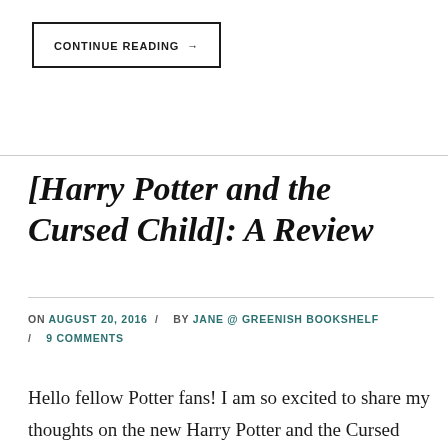CONTINUE READING →
[Harry Potter and the Cursed Child]: A Review
ON AUGUST 20, 2016 / BY JANE @ GREENISH BOOKSHELF / 9 COMMENTS
Hello fellow Potter fans! I am so excited to share my thoughts on the new Harry Potter and the Cursed